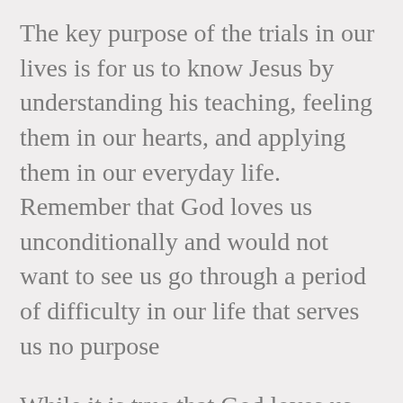The key purpose of the trials in our lives is for us to know Jesus by understanding his teaching, feeling them in our hearts, and applying them in our everyday life. Remember that God loves us unconditionally and would not want to see us go through a period of difficulty in our life that serves us no purpose
While it is true that God loves us, notices us, and looks after us, he meets our needs through other people. If we want to overcome the trials and tribulations in our lives, it is important for us to a[Translate »]ple to help us as this is part of